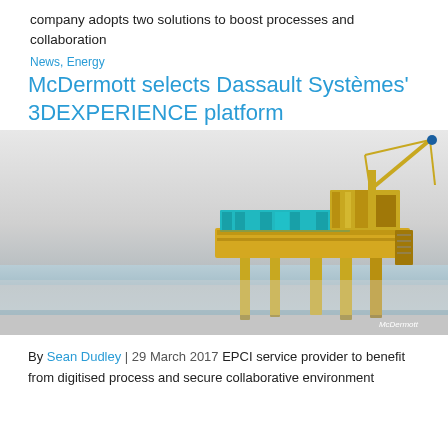company adopts two solutions to boost processes and collaboration
News, Energy
McDermott selects Dassault Systèmes' 3DEXPERIENCE platform
[Figure (photo): Photograph of an offshore oil and gas platform (EPCI structure) rendered in yellow and teal colors, with cranes and multi-level decks, sitting above calm water. McDermott watermark in bottom right.]
By Sean Dudley | 29 March 2017 EPCI service provider to benefit from digitised process and secure collaborative environment